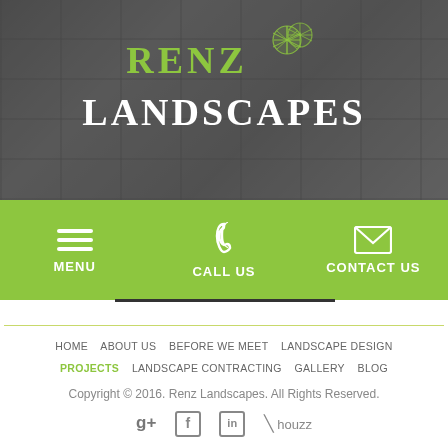[Figure (logo): Renz Landscapes logo with green circular flower/dandelion icon and text RENZ in green, LANDSCAPES in white on dark gray pavement background]
[Figure (infographic): Green navigation bar with three items: hamburger menu icon (MENU), phone icon (CALL US), and envelope icon (CONTACT US)]
HOME   ABOUT US   BEFORE WE MEET   LANDSCAPE DESIGN   PROJECTS   LANDSCAPE CONTRACTING   GALLERY   BLOG
Copyright © 2016. Renz Landscapes. All Rights Reserved.
Responsive Website by Whiteboard Creations